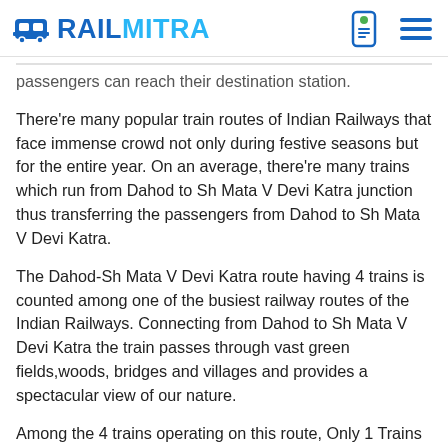RAILMITRA
passengers can reach their destination station.
There're many popular train routes of Indian Railways that face immense crowd not only during festive seasons but for the entire year. On an average, there're many trains which run from Dahod to Sh Mata V Devi Katra junction thus transferring the passengers from Dahod to Sh Mata V Devi Katra.
The Dahod-Sh Mata V Devi Katra route having 4 trains is counted among one of the busiest railway routes of the Indian Railways. Connecting from Dahod to Sh Mata V Devi Katra the train passes through vast green fields,woods, bridges and villages and provides a spectacular view of our nature.
Among the 4 trains operating on this route, Only 1 Trains Run From Bandra Terminus,1 Trains Run From Gandhidham Jn,1 Trains Run From Hapa,1 Trains Run From Jamnagar to Sh Mata V Devi Katra .
When it comes to booking rail tickets from Dahod to Sh Mata V Devi Katra, then passengers can book journey tickets both from